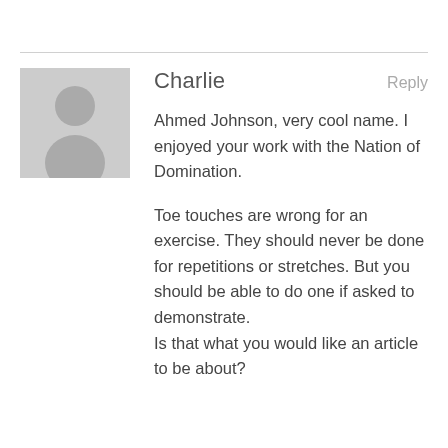Charlie
Reply
[Figure (illustration): Generic grey avatar placeholder showing a silhouette of a person with round head and shoulder body shape on a light grey background]
Ahmed Johnson, very cool name. I enjoyed your work with the Nation of Domination.

Toe touches are wrong for an exercise. They should never be done for repetitions or stretches. But you should be able to do one if asked to demonstrate.
Is that what you would like an article to be about?